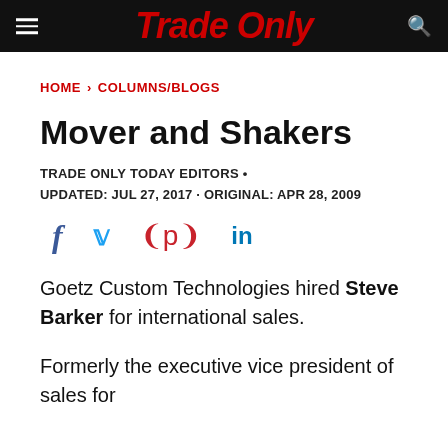Trade Only
HOME > COLUMNS/BLOGS
Mover and Shakers
TRADE ONLY TODAY EDITORS •
UPDATED: JUL 27, 2017 · ORIGINAL: APR 28, 2009
[Figure (other): Social media share icons: Facebook, Twitter, Pinterest, LinkedIn]
Goetz Custom Technologies hired Steve Barker for international sales.
Formerly the executive vice president of sales for